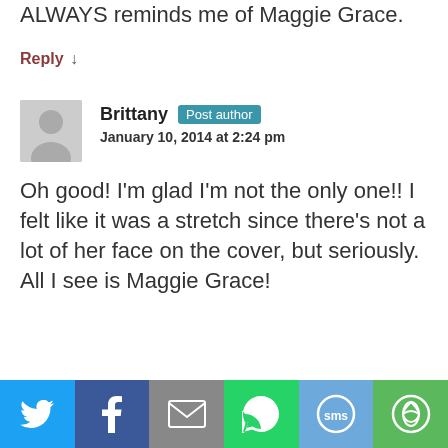ALWAYS reminds me of Maggie Grace.
Reply ↓
Brittany Post author
January 10, 2014 at 2:24 pm
Oh good! I'm glad I'm not the only one!! I felt like it was a stretch since there's not a lot of her face on the cover, but seriously. All I see is Maggie Grace!